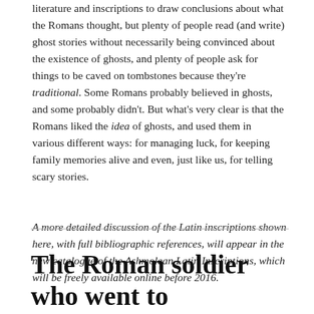literature and inscriptions to draw conclusions about what the Romans thought, but plenty of people read (and write) ghost stories without necessarily being convinced about the existence of ghosts, and plenty of people ask for things to be caved on tombstones because they're traditional. Some Romans probably believed in ghosts, and some probably didn't. But what's very clear is that the Romans liked the idea of ghosts, and used them in various different ways: for managing luck, for keeping family memories alive and even, just like us, for telling scary stories.
A more detailed discussion of the Latin inscriptions shown here, with full bibliographic references, will appear in the new catalogue of the Ashmolean Latin Inscriptions, which will be freely available online before 2016.
The Roman soldier who went to Newcastle and